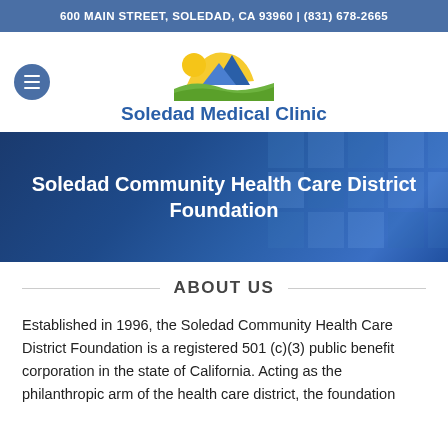600 MAIN STREET, SOLEDAD, CA 93960 | (831) 678-2665
[Figure (logo): Soledad Medical Clinic logo with mountain and sun graphic above the clinic name]
Soledad Community Health Care District Foundation
ABOUT US
Established in 1996, the Soledad Community Health Care District Foundation is a registered 501 (c)(3) public benefit corporation in the state of California. Acting as the philanthropic arm of the health care district, the foundation